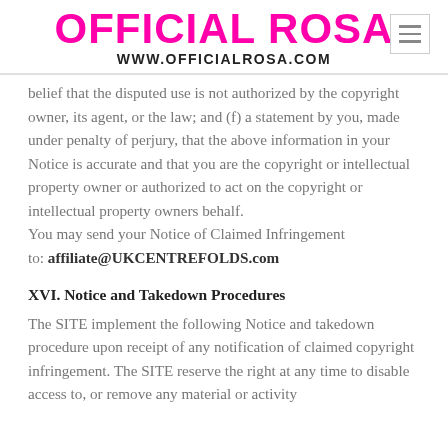OFFICIAL ROSA
WWW.OFFICIALROSA.COM
belief that the disputed use is not authorized by the copyright owner, its agent, or the law; and (f) a statement by you, made under penalty of perjury, that the above information in your Notice is accurate and that you are the copyright or intellectual property owner or authorized to act on the copyright or intellectual property owners behalf.
You may send your Notice of Claimed Infringement
to: affiliate@UKCENTREFOLDS.com
XVI. Notice and Takedown Procedures
The SITE implement the following Notice and takedown procedure upon receipt of any notification of claimed copyright infringement. The SITE reserve the right at any time to disable access to, or remove any material or activity